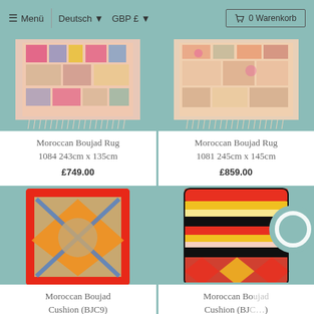≡ Menü  |  Deutsch ▼  GBP £ ▼  🛒 0 Warenkorb
[Figure (photo): Moroccan Boujad Rug 1084, colorful patterned rug with fringe]
Moroccan Boujad Rug 1084 243cm x 135cm
£749.00
[Figure (photo): Moroccan Boujad Rug 1081, colorful patterned rug with fringe]
Moroccan Boujad Rug 1081 245cm x 145cm
£859.00
[Figure (photo): Moroccan Boujad Cushion BJC9, orange and blue diamond pattern on beige]
Moroccan Boujad Cushion (BJC9)
£69.00
[Figure (photo): Moroccan Boujad Cushion, striped multicolor pattern in red, yellow, black]
Moroccan Boujad Cushion (BJ…)
£69.00